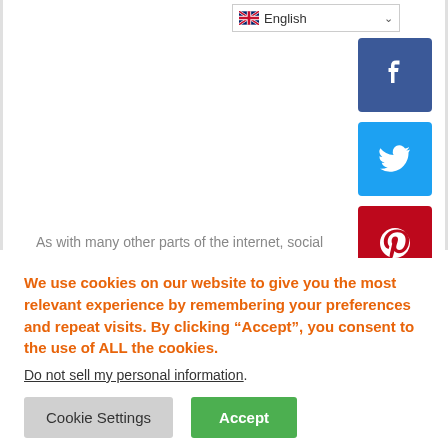[Figure (screenshot): Language selector dropdown showing English with UK flag and chevron]
[Figure (screenshot): Facebook share button (blue square with white F icon)]
[Figure (screenshot): Twitter share button (light blue square with white bird icon)]
[Figure (screenshot): Pinterest share button (red square with white P icon)]
As with many other parts of the internet, social
We use cookies on our website to give you the most relevant experience by remembering your preferences and repeat visits. By clicking “Accept”, you consent to the use of ALL the cookies.
Do not sell my personal information.
Cookie Settings
Accept